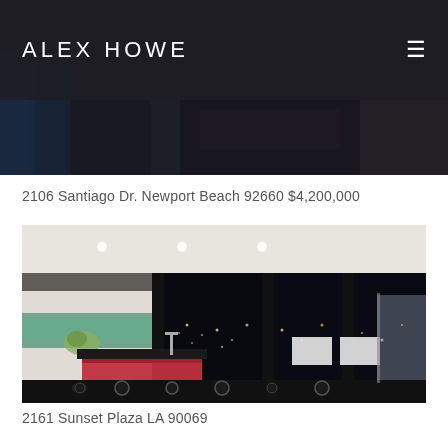ALEX HOWE
[Figure (photo): Interior room with dark furniture and bookshelves visible, partially visible at the top of the page behind a dark overlay header]
2106 Santiago Dr. Newport Beach 92660 $4,200,000
[Figure (photo): Luxury home interior showing an open kitchen and living area with floor-to-ceiling glass walls revealing a nighttime city view, featuring a red kitchen island and modern appliances]
2161 Sunset Plaza LA 90069